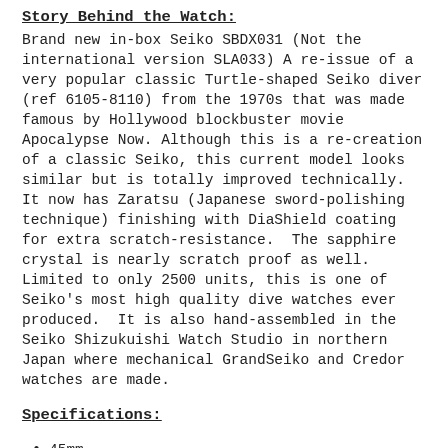Story Behind the Watch:
Brand new in-box Seiko SBDX031 (Not the international version SLA033) A re-issue of a very popular classic Turtle-shaped Seiko diver (ref 6105-8110) from the 1970s that was made famous by Hollywood blockbuster movie Apocalypse Now. Although this is a re-creation of a classic Seiko, this current model looks similar but is totally improved technically.  It now has Zaratsu (Japanese sword-polishing technique) finishing with DiaShield coating for extra scratch-resistance.  The sapphire crystal is nearly scratch proof as well.  Limited to only 2500 units, this is one of Seiko's most high quality dive watches ever produced.  It is also hand-assembled in the Seiko Shizukuishi Watch Studio in northern Japan where mechanical GrandSeiko and Credor watches are made.
Specifications:
45mm
Power reserve: 50 hours
Features: Stainless steel with "super-hard" coating and applied dial indexes